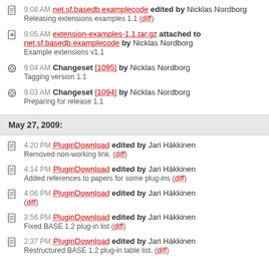9:08 AM net.sf.basedb.examplecode edited by Nicklas Nordborg
Releasing extensions examples 1.1 (diff)
9:05 AM extension-examples-1.1.tar.gz attached to net.sf.basedb.examplecode by Nicklas Nordborg
Example extensions v1.1
9:04 AM Changeset [1095] by Nicklas Nordborg
Tagging version 1.1
9:03 AM Changeset [1094] by Nicklas Nordborg
Preparing for release 1.1
May 27, 2009:
4:20 PM PluginDownload edited by Jari Häkkinen
Removed non-working link. (diff)
4:14 PM PluginDownload edited by Jari Häkkinen
Added references to papers for some plug-ins (diff)
4:06 PM PluginDownload edited by Jari Häkkinen
(diff)
3:56 PM PluginDownload edited by Jari Häkkinen
Fixed BASE 1.2 plug-in list (diff)
2:37 PM PluginDownload edited by Jari Häkkinen
Restructured BASE 1.2 plug-in table list. (diff)